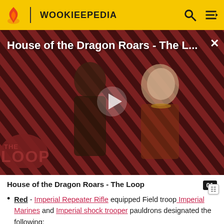WOOKIEEPEDIA
[Figure (screenshot): Video thumbnail for 'House of the Dragon Roars - The L...' showing two characters against a diagonal red and dark striped background with THE LOOP logo. A play button is visible in the center.]
House of the Dragon Roars - The Loop
Red - Imperial Repeater Rifle equipped Field troop Imperial Marines and Imperial shock trooper pauldrons designated the following: